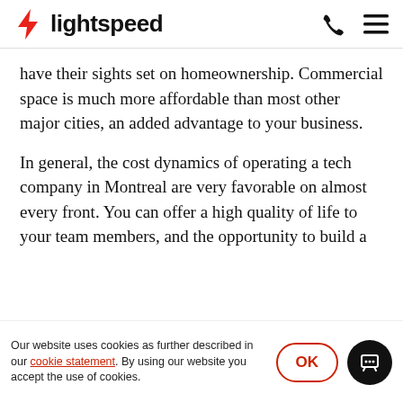lightspeed
have their sights set on homeownership. Commercial space is much more affordable than most other major cities, an added advantage to your business.
In general, the cost dynamics of operating a tech company in Montreal are very favorable on almost every front. You can offer a high quality of life to your team members, and the opportunity to build a
Our website uses cookies as further described in our cookie statement. By using our website you accept the use of cookies.